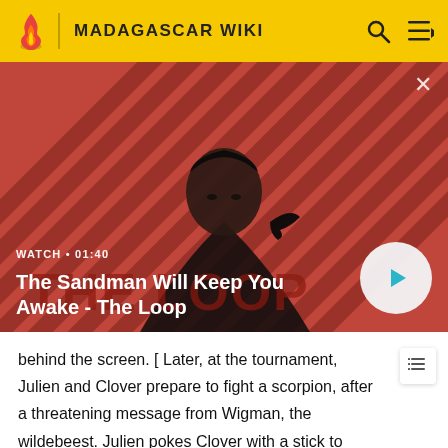MADAGASCAR WIKI
[Figure (screenshot): Video thumbnail showing a dark-cloaked figure with a raven on their shoulder against a red and dark diagonal striped background. Text overlay reads WATCH 01:40 and title The Sandman Will Keep You Awake - The Loop with a play button.]
behind the screen. [ Later, at the tournament, Julien and Clover prepare to fight a scorpion, after a threatening message from Wigman, the wildebeest. Julien pokes Clover with a stick to make her punch things, but her punches miss as they are only in one direction. Julien